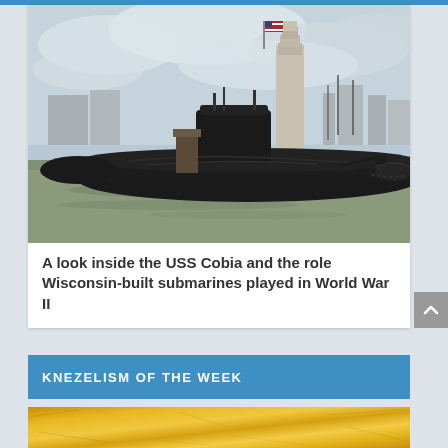[Figure (photo): A black submarine (USS Cobia) docked at a waterfront with an American flag flying from the conning tower, industrial buildings and grey cloudy sky in the background, murky brown water in the foreground.]
A look inside the USS Cobia and the role Wisconsin-built submarines played in World War II
KNEZELISM OF THE WEEK
[Figure (photo): A partial view of a gold/yellow textured surface, likely a gold or metallic background image, partially visible at the bottom of the page.]